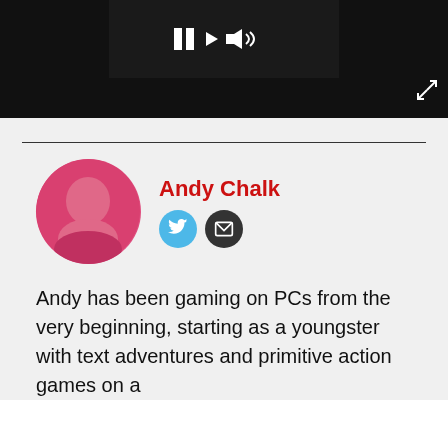[Figure (screenshot): Video player controls bar with pause button and audio/playback icons on dark background, with expand icon at bottom right]
Andy Chalk
[Figure (photo): Circular author avatar of Andy Chalk with pink/magenta tint]
Andy has been gaming on PCs from the very beginning, starting as a youngster with text adventures and primitive action games on a